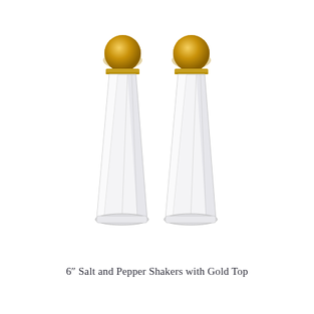[Figure (photo): Two clear glass salt and pepper shakers with gold dome tops. The shakers have a faceted, tapered tower shape — wider at the base and narrowing toward the neck — with a gold metal screw-on dome cap. They are photographed side by side on a white background.]
6" Salt and Pepper Shakers with Gold Top